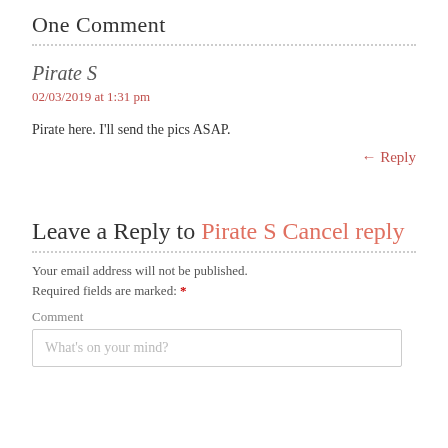One Comment
Pirate S
02/03/2019 at 1:31 pm
Pirate here. I'll send the pics ASAP.
← Reply
Leave a Reply to Pirate S Cancel reply
Your email address will not be published.
Required fields are marked: *
Comment
What's on your mind?